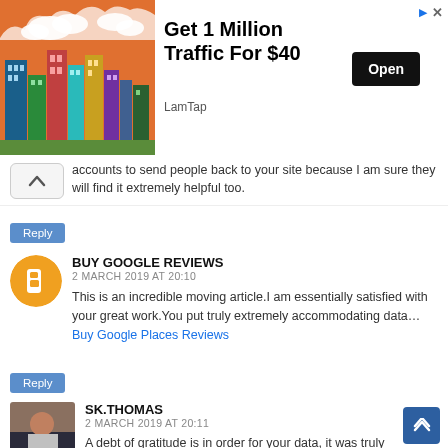[Figure (screenshot): Advertisement banner: city skyline illustration on left, text 'Get 1 Million Traffic For $40' by LamTap, with Open button]
accounts to send people back to your site because I am sure they will find it extremely helpful too.
Reply
BUY GOOGLE REVIEWS
2 MARCH 2019 AT 20:10
This is an incredible moving article.I am essentially satisfied with your great work.You put truly extremely accommodating data... Buy Google Places Reviews
Reply
SK.THOMAS
2 MARCH 2019 AT 20:11
A debt of gratitude is in order for your data, it was truly exceptionally helpfull.. Buy Google Ratings